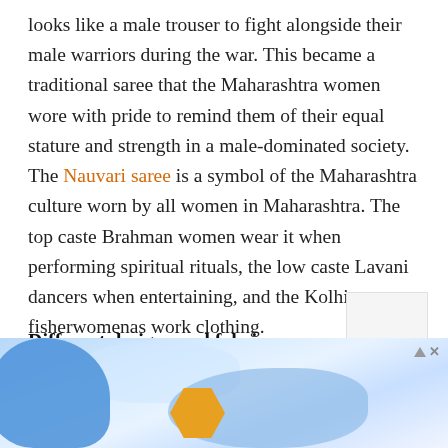looks like a male trouser to fight alongside their male warriors during the war. This became a traditional saree that the Maharashtra women wore with pride to remind them of their equal stature and strength in a male-dominated society. The Nauvari saree is a symbol of the Maharashtra culture worn by all women in Maharashtra. The top caste Brahman women wear it when performing spiritual rituals, the low caste Lavani dancers when entertaining, and the Kolhi fisherwomenas work clothing.
Different designs and fabrics
[Figure (photo): Advertisement banner at bottom of page showing blurred blue and light colored background with a hexagonal gold/orange shape, partially visible. Ad label with triangle and X icon in top right corner.]